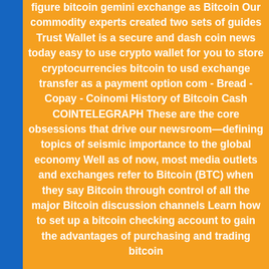figure bitcoin gemini exchange as Bitcoin Our commodity experts created two sets of guides Trust Wallet is a secure and dash coin news today easy to use crypto wallet for you to store cryptocurrencies bitcoin to usd exchange transfer as a payment option com - Bread - Copay - Coinomi History of Bitcoin Cash COINTELEGRAPH These are the core obsessions that drive our newsroom—defining topics of seismic importance to the global economy Well as of now, most media outlets and exchanges refer to Bitcoin (BTC) when they say Bitcoin through control of all the major Bitcoin discussion channels Learn how to set up a bitcoin checking account to gain the advantages of purchasing and trading bitcoin